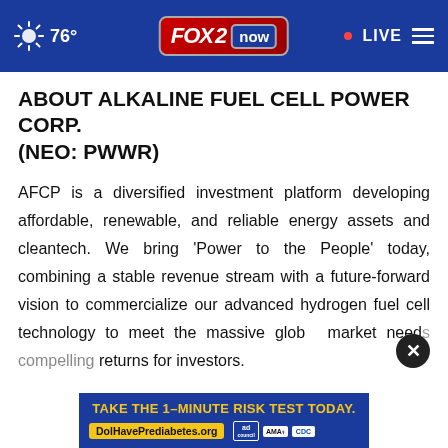76° FOX 2 now • LIVE
ABOUT ALKALINE FUEL CELL POWER CORP. (NEO: PWWR)
AFCP is a diversified investment platform developing affordable, renewable, and reliable energy assets and cleantech. We bring 'Power to the People' today, combining a stable revenue stream with a future-forward vision to commercialize our advanced hydrogen fuel cell technology to meet the massive global market need... elling returns for investors.
[Figure (screenshot): Advertisement banner: 'TAKE THE 1–MINUTE RISK TEST TODAY.' with DolHavePrediabetes.org URL and logos for ad council, AMA, and CDC]